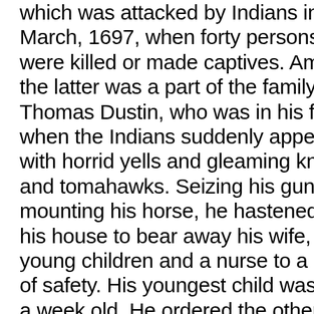which was attacked by Indians in March, 1697, when forty persons were killed or made captives. Among the latter was a part of the family of Thomas Dustin, who was in his field when the Indians suddenly appeared with horrid yells and gleaming knives and tomahawks. Seizing his gun and mounting his horse, he hastened to his house to bear away his wife, eight young children and a nurse to a place of safety. His youngest child was only a week old. He ordered the other seven to fly in a direction opposite to the approach of the Indians, and was lifting his wife from the bed when the Indians attacked his house. "Leave me," cried the